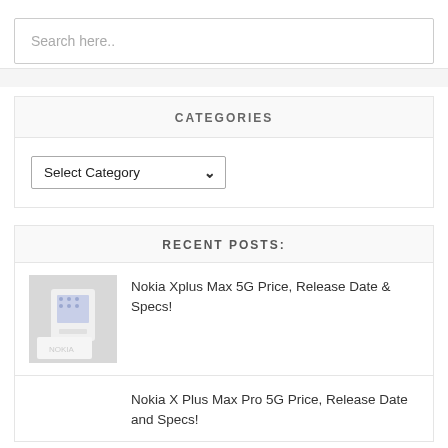Search here..
CATEGORIES
Select Category
RECENT POSTS:
[Figure (photo): Thumbnail image of a Nokia phone on white background]
Nokia Xplus Max 5G Price, Release Date & Specs!
Nokia X Plus Max Pro 5G Price, Release Date and Specs!